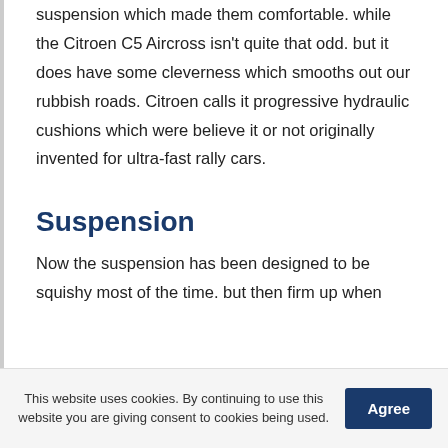suspension which made them comfortable. while the Citroen C5 Aircross isn't quite that odd. but it does have some cleverness which smooths out our rubbish roads. Citroen calls it progressive hydraulic cushions which were believe it or not originally invented for ultra-fast rally cars.
Suspension
Now the suspension has been designed to be squishy most of the time. but then firm up when
This website uses cookies. By continuing to use this website you are giving consent to cookies being used.